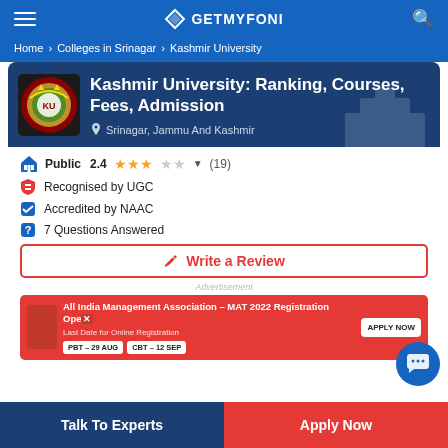GETMYFONI
Home > Colleges in Srinagar > Kashmir University
Kashmir University: Ranking, Courses, Fees, Admission
Srinagar, Jammu And Kashmir
Public  2.4  (19)
Recognised by UGC
Accredited by NAAC
7 Questions Answered
Write a Review
Advertisement
All India Management Association – MAT 2022 Registration Open
Last Date for Online Registration
PBT – 29 AUG   CBT – 12 SEP   APPLY NOW
Talk To Experts
Apply Now